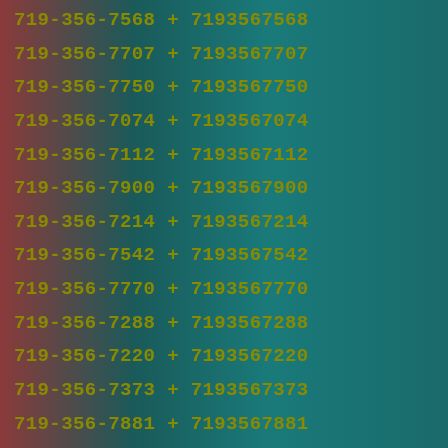719-356-7568 + 7193567568
719-356-7707 + 7193567707
719-356-7750 + 7193567750
719-356-7074 + 7193567074
719-356-7112 + 7193567112
719-356-7900 + 7193567900
719-356-7214 + 7193567214
719-356-7542 + 7193567542
719-356-7770 + 7193567770
719-356-7288 + 7193567288
719-356-7220 + 7193567220
719-356-7373 + 7193567373
719-356-7881 + 7193567881
719-356-7476 + 7193567476
719-356-7330 + 7193567330
719-356-7734 + 7193567734
719-356-7565 + 7193567565
719-356-7740 + 7193567740
719-356-7377 + 7193567377
719-356-7633 + 7193567633
719-356-7011 + 7193567011
719-356-7187 + 7193567187
719-356-7000 + 7193567000